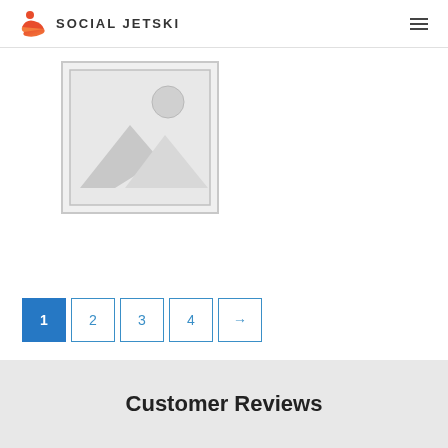SOCIAL JETSKI
[Figure (illustration): Placeholder image icon with mountain and sun silhouette inside a grey bordered frame]
1
2
3
4
→
Customer Reviews